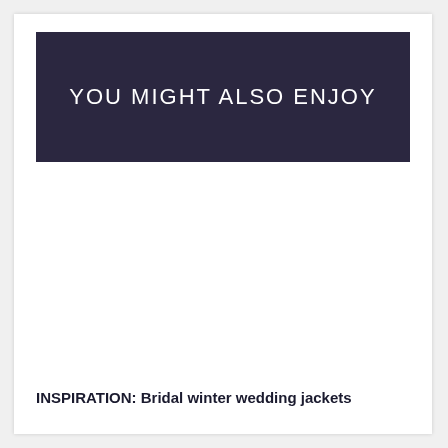YOU MIGHT ALSO ENJOY
[Figure (photo): White blank image area below the header banner]
INSPIRATION: Bridal winter wedding jackets